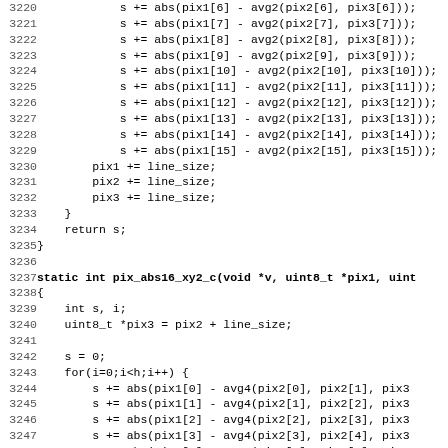Source code listing lines 3220-3251 showing C functions with pixel absolute value computations (pix_abs16_xy2_c)